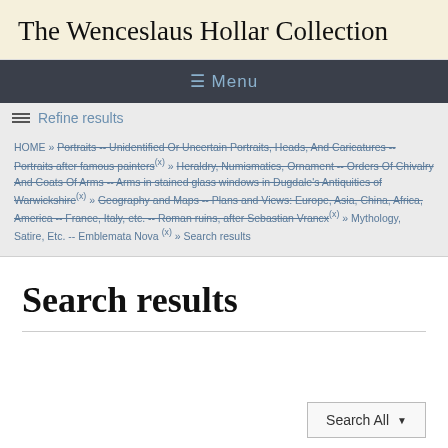The Wenceslaus Hollar Collection
≡ Menu
≡ Refine results
HOME » Portraits -- Unidentified Or Uncertain Portraits, Heads, And Caricatures -- Portraits after famous painters(x) » Heraldry, Numismatics, Ornament -- Orders Of Chivalry And Coats Of Arms -- Arms in stained glass windows in Dugdale's Antiquities of Warwickshire(x) » Geography and Maps -- Plans and Views: Europe, Asia, China, Africa, America -- France, Italy, etc. -- Roman ruins, after Sebastian Vrancx(x) » Mythology, Satire, Etc. -- Emblemata Nova(x) » Search results
Search results
Search All